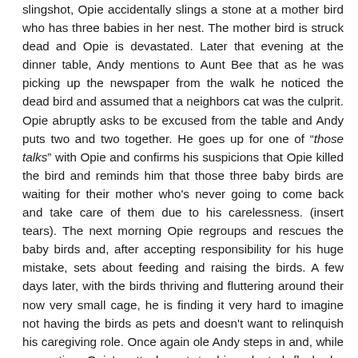slingshot, Opie accidentally slings a stone at a mother bird who has three babies in her nest. The mother bird is struck dead and Opie is devastated. Later that evening at the dinner table, Andy mentions to Aunt Bee that as he was picking up the newspaper from the walk he noticed the dead bird and assumed that a neighbors cat was the culprit. Opie abruptly asks to be excused from the table and Andy puts two and two together. He goes up for one of "those talks" with Opie and confirms his suspicions that Opie killed the bird and reminds him that those three baby birds are waiting for their mother who's never going to come back and take care of them due to his carelessness. (insert tears). The next morning Opie regroups and rescues the baby birds and, after accepting responsibility for his huge mistake, sets about feeding and raising the birds. A few days later, with the birds thriving and fluttering around their now very small cage, he is finding it very hard to imagine not having the birds as pets and doesn't want to relinquish his caregiving role. Once again ole Andy steps in and, while respecting Opie's attachment to his adopted flock, he reminds his son that there's one important lesson left that the mother bird would have taught her fledglings. When the time was ready, she